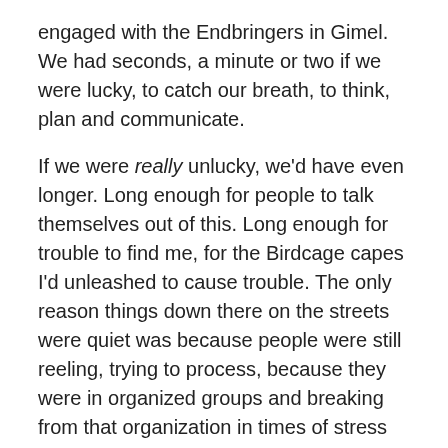engaged with the Endbringers in Gimel.  We had seconds, a minute or two if we were lucky, to catch our breath, to think, plan and communicate.
If we were really unlucky, we'd have even longer.  Long enough for people to talk themselves out of this.  Long enough for trouble to find me, for the Birdcage capes I'd unleashed to cause trouble.  The only reason things down there on the streets were quiet was because people were still reeling, trying to process, because they were in organized groups and breaking from that organization in times of stress was hard.
Cults and religions and frat- fratern- clubs, they held together because of the power of the group.  We were social creatures in the end.  Easier to be one tinker in a small army of tinkers than a tinker all alone.